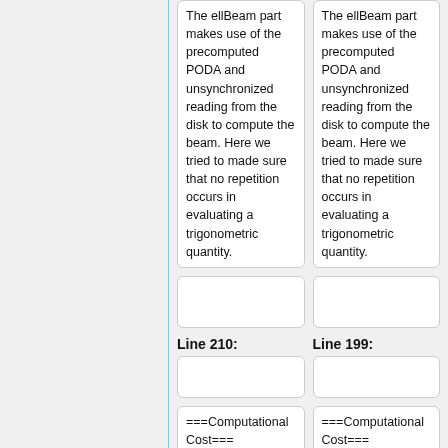The ellBeam part makes use of the precomputed PODA and unsynchronized reading from the disk to compute the beam. Here we tried to made sure that no repetition occurs in evaluating a trigonometric quantity.
The ellBeam part makes use of the precomputed PODA and unsynchronized reading from the disk to compute the beam. Here we tried to made sure that no repetition occurs in evaluating a trigonometric quantity.
Line 210:
Line 199:
===Computational Cost===
===Computational Cost===